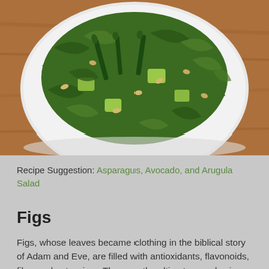[Figure (photo): A white plate on a wooden table filled with arugula salad topped with asparagus spears, avocado chunks, and pine nuts]
Recipe Suggestion: Asparagus, Avocado, and Arugula Salad
Figs
Figs, whose leaves became clothing in the biblical story of Adam and Eve, are filled with antioxidants, flavonoids, fiber and potassium. They are the ultimate paradox in sensual